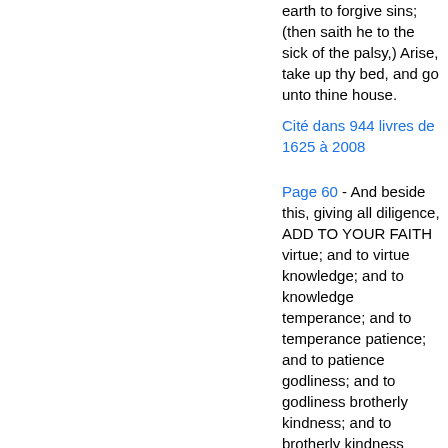earth to forgive sins; (then saith he to the sick of the palsy,) Arise, take up thy bed, and go unto thine house.
Cité dans 944 livres de 1625 à 2008
Page 60 - And beside this, giving all diligence, ADD TO YOUR FAITH virtue; and to virtue knowledge; and to knowledge temperance; and to temperance patience; and to patience godliness; and to godliness brotherly kindness; and to brotherly kindness charity. For if these things be in you and abound, they make you that ye shall neither be